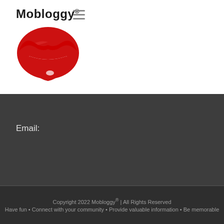[Figure (logo): Mobloggy logo: red lips with white teeth and black tongue forming an 'M' shape, with text 'Mobloggy®' above]
390-1113
Email:
info@mobloggy.com
Copyright 2022 Mobloggy® | All Rights Reserved
Have fun • Connect with your community • Provide valuable information • Be memorable